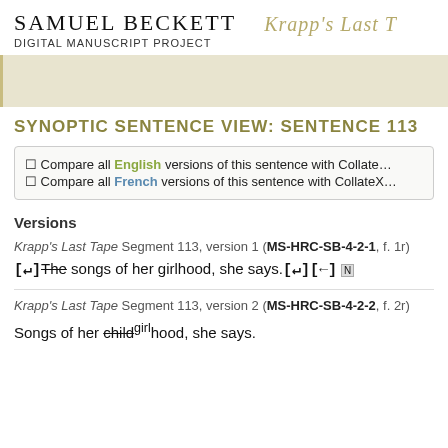Samuel Beckett Digital Manuscript Project | Krapp's Last T…
Synoptic Sentence View: Sentence 113
□ Compare all English versions of this sentence with Collate… □ Compare all French versions of this sentence with CollateX…
Versions
Krapp's Last Tape Segment 113, version 1 (MS-HRC-SB-4-2-1, f. 1r)
[↵] The songs of her girlhood, she says.[↵][←] [N]
Krapp's Last Tape Segment 113, version 2 (MS-HRC-SB-4-2-2, f. 2r)
Songs of her childgirlhood, she says.